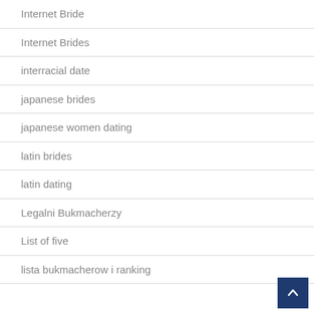Internet Bride
Internet Brides
interracial date
japanese brides
japanese women dating
latin brides
latin dating
Legalni Bukmacherzy
List of five
lista bukmacherow i ranking